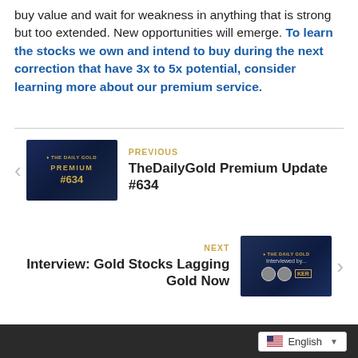buy value and wait for weakness in anything that is strong but too extended. New opportunities will emerge. To learn the stocks we own and intend to buy during the next correction that have 3x to 5x potential, consider learning more about our premium service.
[Figure (other): Navigation block: PREVIOUS - TheDailyGold Premium Update #634 with thumbnail image showing dark blue background with gold text 'The Daily Gold Premium #634']
[Figure (other): Navigation block: NEXT - Interview: Gold Stocks Lagging Gold Now with thumbnail image showing The Daily Gold interview with two people and KER logo]
English